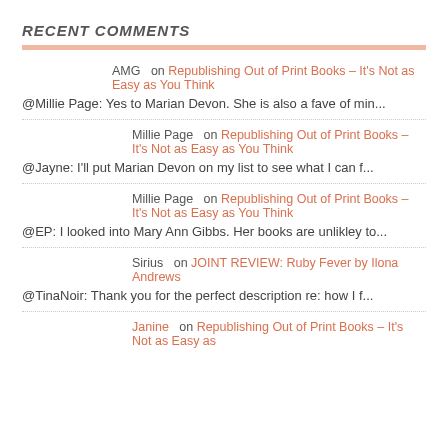RECENT COMMENTS
AMG on Republishing Out of Print Books – It's Not as Easy as You Think
@Millie Page: Yes to Marian Devon. She is also a fave of min...
Millie Page on Republishing Out of Print Books – It's Not as Easy as You Think
@Jayne: I'll put Marian Devon on my list to see what I can f...
Millie Page on Republishing Out of Print Books – It's Not as Easy as You Think
@EP: I looked into Mary Ann Gibbs. Her books are unlikley to...
Sirius on JOINT REVIEW: Ruby Fever by Ilona Andrews
@TinaNoir: Thank you for the perfect description re: how I f...
Janine on Republishing Out of Print Books – It's Not as Easy as